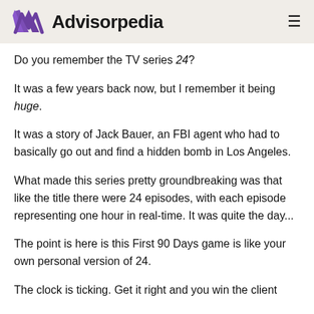Advisorpedia
Do you remember the TV series 24?
It was a few years back now, but I remember it being huge.
It was a story of Jack Bauer, an FBI agent who had to basically go out and find a hidden bomb in Los Angeles.
What made this series pretty groundbreaking was that like the title there were 24 episodes, with each episode representing one hour in real-time. It was quite the day...
The point is here is this First 90 Days game is like your own personal version of 24.
The clock is ticking. Get it right and you win the client